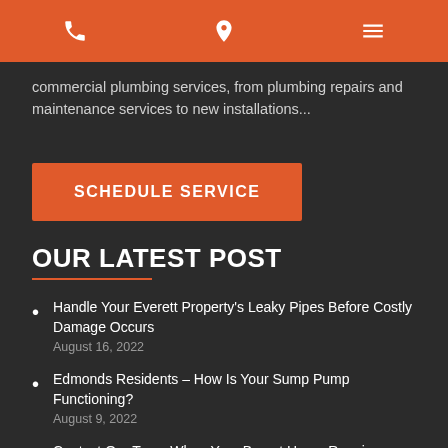[phone icon] [location icon] [menu icon]
commercial plumbing services, from plumbing repairs and maintenance services to new installations...
SCHEDULE SERVICE
OUR LATEST POST
Handle Your Everett Property's Leaky Pipes Before Costly Damage Occurs
August 16, 2022
Edmonds Residents – How Is Your Sump Pump Functioning?
August 9, 2022
Contact Our Team When Your Bryant Home Requires Toilet Repair Or Installation
August 2, 2022